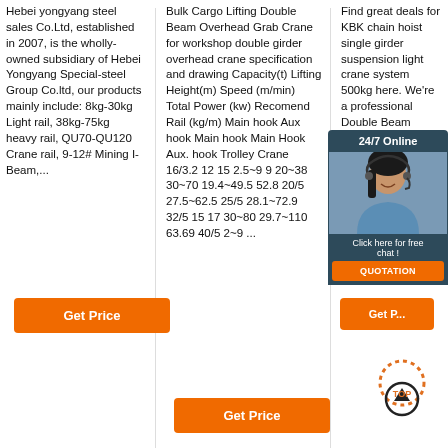Hebei yongyang steel sales Co.Ltd, established in 2007, is the wholly-owned subsidiary of Hebei Yongyang Special-steel Group Co.ltd, our products mainly include: 8kg-30kg Light rail, 38kg-75kg heavy rail, QU70-QU120 Crane rail, 9-12# Mining I-Beam,...
Bulk Cargo Lifting Double Beam Overhead Grab Crane for workshop double girder overhead crane specification and drawing Capacity(t) Lifting Height(m) Speed (m/min) Total Power (kw) Recomend Rail (kg/m) Main hook Aux hook Main hook Main Hook Aux. hook Trolley Crane 16/3.2 12 15 2.5~9 9 20~38 30~70 19.4~49.5 52.8 20/5 27.5~62.5 25/5 28.1~72.9 32/5 15 17 30~80 29.7~110 63.69 40/5 2~9 ...
Find great deals for KBK chain hoist single girder suspension light crane system 500kg here. We're a professional Double Beam Crane factory from China. Best discount products price wi...
[Figure (illustration): 24/7 Online chat widget with a woman wearing a headset, dark blue background panel with 'Click here for free chat!' text and orange QUOTATION button]
[Figure (illustration): Orange TOP arrow/up button circular icon with dotted arc above it]